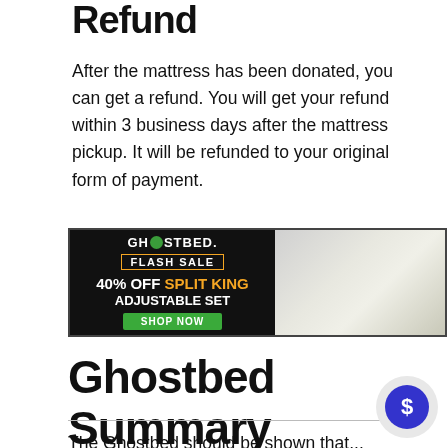Refund
After the mattress has been donated, you can get a refund. You will get your refund within 3 business days after the mattress pickup. It will be refunded to your original form of payment.
[Figure (other): GhostBed Flash Sale advertisement banner: 40% OFF SPLIT KING ADJUSTABLE SET with SHOP NOW button, alongside an image of an adjustable split king mattress set in a bedroom setting.]
Ghostbed Summary
The Ghostbed should be shown that...